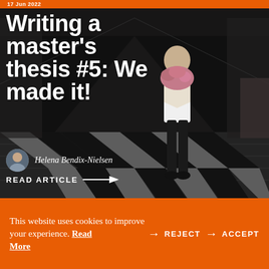17 Jun 2022
[Figure (photo): A woman standing in a corridor holding a bouquet of flowers, wearing black trousers and a white top. The corridor has a black and white checkered floor. Large white title text overlays the image.]
Writing a master's thesis #5: We made it!
Helena Bendix-Nielsen
READ ARTICLE →
This website uses cookies to improve your experience. Read More → REJECT → ACCEPT